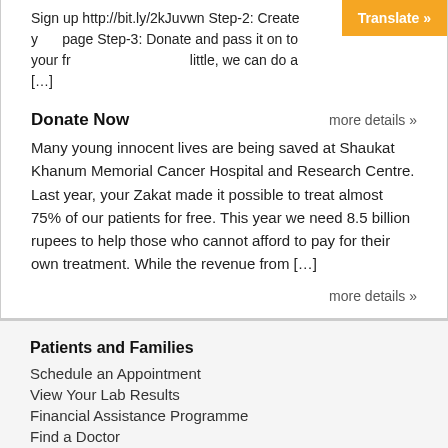Sign up http://bit.ly/2kJuvwn Step-2: Create your page Step-3: Donate and pass it on to your friends if we all do a little, we can do a [...]
Translate »
Donate Now
more details »
Many young innocent lives are being saved at Shaukat Khanum Memorial Cancer Hospital and Research Centre. Last year, your Zakat made it possible to treat almost 75% of our patients for free. This year we need 8.5 billion rupees to help those who cannot afford to pay for their own treatment. While the revenue from [...]
more details »
Patients and Families
Schedule an Appointment
View Your Lab Results
Financial Assistance Programme
Find a Doctor